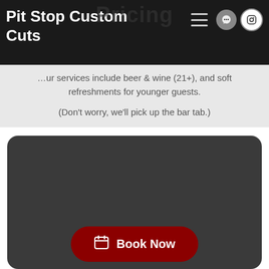Pit Stop Custom Cuts
Pricing
…ur services include beer & wine (21+), and soft refreshments for younger guests.
(Don't worry, we'll pick up the bar tab.)
[Figure (other): Dark gray rounded rectangle card area with a Book Now button at the bottom in dark red/maroon with a calendar icon.]